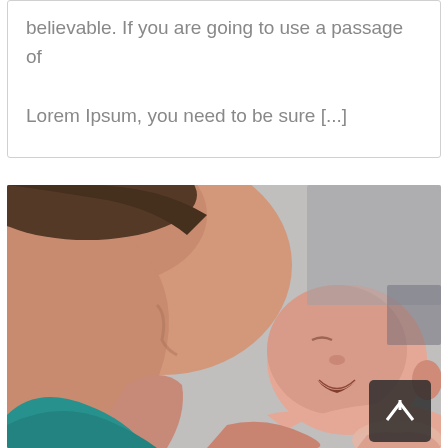believable. If you are going to use a passage of Lorem Ipsum, you need to be sure [...]
[Figure (photo): A mother in a teal top looking down at a newborn baby she is holding in her hands. Close-up photograph with soft blurred background.]